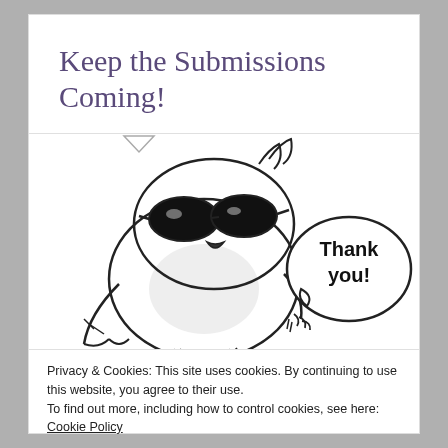Keep the Submissions Coming!
[Figure (illustration): Cartoon drawing of a cool-looking owl wearing sunglasses, with a speech bubble saying 'Thank you!']
Privacy & Cookies: This site uses cookies. By continuing to use this website, you agree to their use.
To find out more, including how to control cookies, see here: Cookie Policy
Close and accept